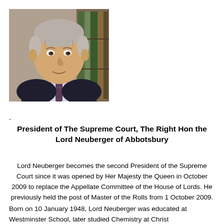[Figure (photo): Portrait photograph of Lord Neuberger, an elderly man in a dark suit with a striped tie, posing in front of bookshelves.]
-
President of The Supreme Court, The Right Hon the Lord Neuberger of Abbotsbury
Lord Neuberger becomes the second President of the Supreme Court since it was opened by Her Majesty the Queen in October 2009 to replace the Appellate Committee of the House of Lords. He previously held the post of Master of the Rolls from 1 October 2009.
Born on 10 January 1948, Lord Neuberger was educated at Westminster School, later studied Chemistry at Christ